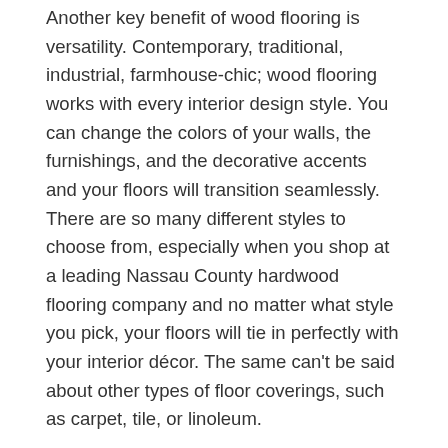Another key benefit of wood flooring is versatility. Contemporary, traditional, industrial, farmhouse-chic; wood flooring works with every interior design style. You can change the colors of your walls, the furnishings, and the decorative accents and your floors will transition seamlessly. There are so many different styles to choose from, especially when you shop at a leading Nassau County hardwood flooring company and no matter what style you pick, your floors will tie in perfectly with your interior décor. The same can't be said about other types of floor coverings, such as carpet, tile, or linoleum.
Durability
Wood floors are exceptionally durable, especially when they're purchased from and installed by KO Floors, the most reputable Nassau County hardwood flooring contractor. High-density woods are practically invulnerable to dents, scratches, and other damage that can leave unsightly marks on weaker flooring materials. Wood doesn't wear out like carpeting, tile, or laminate